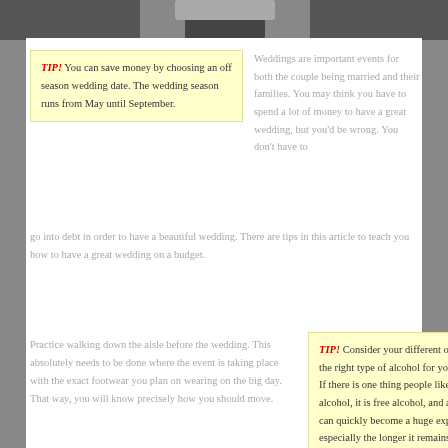[Figure (photo): Top portion of a wedding photo showing the upper part of a couple, partially cut off at the top of the page.]
TIP! You can save money by choosing an off season wedding date. The wedding season runs from May until September.
Weddings are important events for both the couple being married and their families. You may think you have to spend a lot of money to have a great wedding, but you'd be wrong. You don't have to go into debt in order to have a beautiful wedding. There are tips in this article to teach you how to have a great wedding on a budget.
Practice walking down the aisle before the wedding. This absolutely needs to be done where the event is taking place with the exact footwear you plan on wearing on the big day. That way, you will know precisely how you should move.
TIP! Consider your different options to find the right type of alcohol for your wedding. If there is one thing people like more than alcohol, it is free alcohol, and an open bar can quickly become a huge expense, especially the longer it remains open.